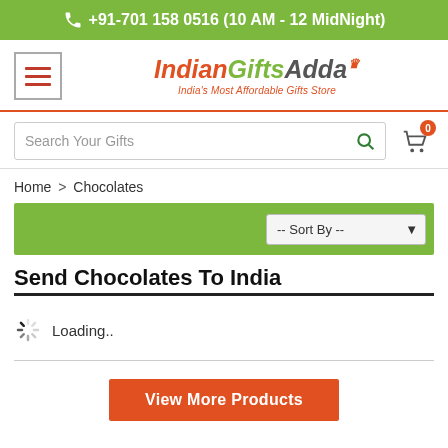+91-701 158 0516 (10 AM - 12 MidNight)
[Figure (logo): IndianGiftsAdda logo with hamburger menu icon. Tagline: India's Most Affordable Gifts Store]
Search Your Gifts
Home > Chocolates
-- Sort By --
Send Chocolates To India
Loading..
View More Products